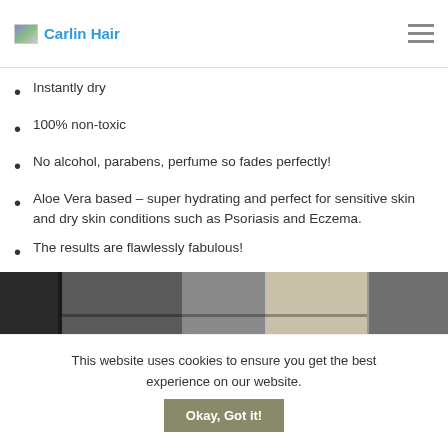Carlin Hair
Instantly dry
100% non-toxic
No alcohol, parabens, perfume so fades perfectly!
Aloe Vera based – super hydrating and perfect for sensitive skin and dry skin conditions such as Psoriasis and Eczema.
The results are flawlessly fabulous!
[Figure (photo): Interior room/shelf scene, dark background with shelving visible]
This website uses cookies to ensure you get the best experience on our website.